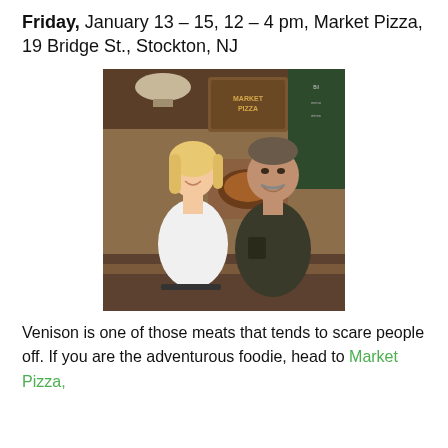Friday, January 13 – 15, 12 – 4 pm, Market Pizza, 19 Bridge St., Stockton, NJ
[Figure (photo): Two people posing inside a pizza restaurant. A blonde woman in a white top stands on the left, and an older man with a mustache wearing a dark shirt stands on the right. Behind them is a pizza oven and a chalkboard menu, with a 'Market Pizza' sign visible above.]
Venison is one of those meats that tends to scare people off. If you are the adventurous foodie, head to Market Pizza,